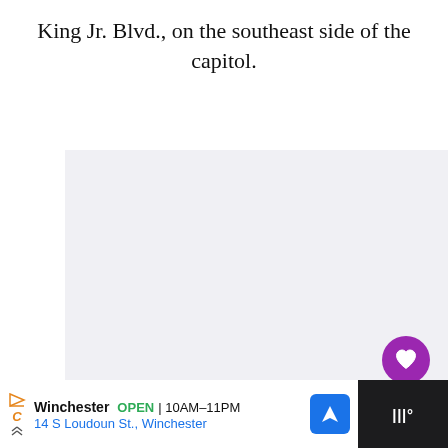King Jr. Blvd., on the southeast side of the capitol.
[Figure (photo): A light gray rectangular image placeholder area, likely a photograph of a location near King Jr. Blvd. on the southeast side of the capitol.]
[Figure (infographic): UI overlay with like button (purple heart, count 19), share button, and a 'What's Next' card showing 'Free Printable Vintage...']
WHAT'S NEXT → Free Printable Vintage...
Winchester OPEN 10AM–11PM 14 S Loudoun St., Winchester